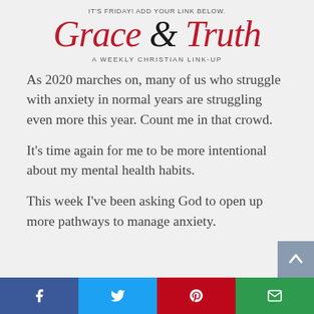It's Friday! Add your link below.
Grace & Truth
A Weekly Christian Link-Up
As 2020 marches on, many of us who struggle with anxiety in normal years are struggling even more this year. Count me in that crowd.
It's time again for me to be more intentional about my mental health habits.
This week I've been asking God to open up more pathways to manage anxiety.